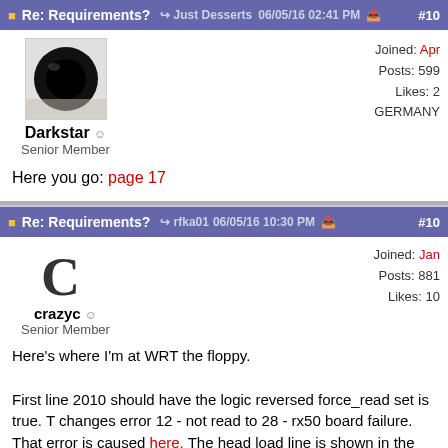Re: Requirements? Just Desserts 06/05/16 02:41 PM #10
Darkstar - Offline
Senior Member
Joined: Apr
Posts: 599
Likes: 2
GERMANY
Here you go: page 17
Re: Requirements? rfka01 06/05/16 10:30 PM #10
crazyc - Offline
Senior Member
Joined: Jan
Posts: 881
Likes: 10
Here's where I'm at WRT the floppy.

First line 2010 should have the logic reversed force_read set is true. T changes error 12 - not read to 28 - rx50 board failure. That error is caused here. The head load line is shown in the schematic here but yo can see on the next page it isn't pushed out to the drive. Page 3 seem to show that the motor for the selected drive is enabled implicitly by th head load line going high. The question I have though is what is happening with the Z80 though. I'd guess that the head load status bit